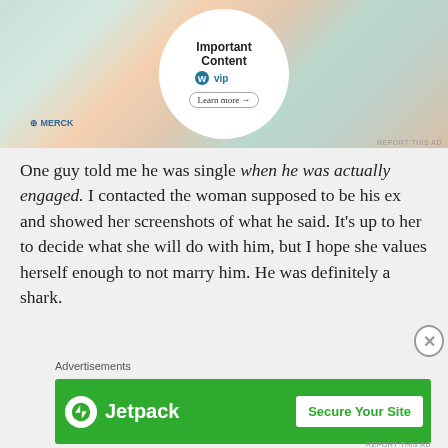[Figure (screenshot): Top advertisement banner showing WordPress VIP ad with colorful brand logos including Merck and Hachette in background, with a circular white overlay containing 'Important Content' text, WordPress VIP logo, and 'Learn more' button]
One guy told me he was single when he was actually engaged. I contacted the woman supposed to be his ex and showed her screenshots of what he said. It's up to her to decide what she will do with him, but I hope she values herself enough to not marry him. He was definitely a shark.
[Figure (screenshot): Jetpack advertisement banner with green background showing Jetpack logo on left and 'Secure Your Site' button on right]